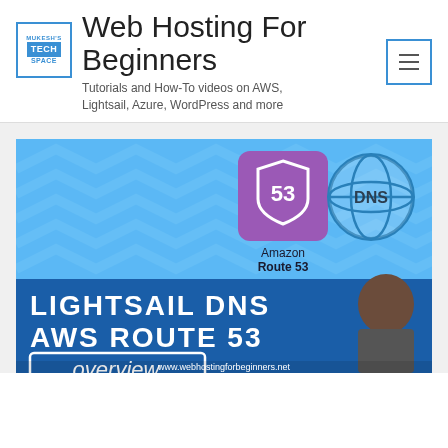[Figure (logo): Mukesh's Tech Space logo — blue bordered box with MUKESH'S TECH SPACE text]
Web Hosting For Beginners
Tutorials and How-To videos on AWS, Lightsail, Azure, WordPress and more
[Figure (screenshot): Thumbnail image showing Amazon Route 53 logo and DNS globe icon, with text 'LIGHTSAIL DNS AWS ROUTE 53 overview' and a person's photo on blue background, with URL www.webhostingforbeginners.net]